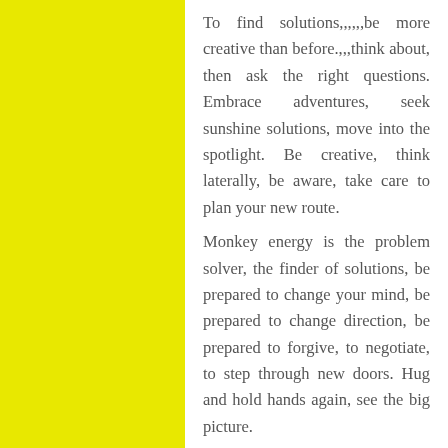To find solutions,,,,,,be more creative than before.,,,think about, then ask the right questions. Embrace adventures, seek sunshine solutions, move into the spotlight. Be creative, think laterally, be aware, take care to plan your new route.
Monkey energy is the problem solver, the finder of solutions, be prepared to change your mind, be prepared to change direction, be prepared to forgive, to negotiate, to step through new doors. Hug and hold hands again, see the big picture.
Place bright fiery colours of red and yellow in the southern feng shui sector of your home, place copper and brass in the west and north western sectors, to bring